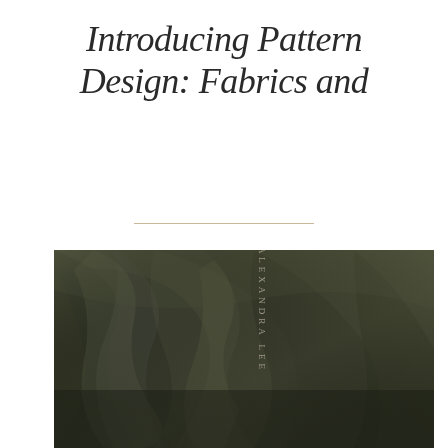Introducing Pattern Design: Fabrics and
[Figure (photo): Close-up photograph of dark olive/charcoal green draped fabric with silky texture and soft folds. A vertical text watermark reading 'ALEXANDRA LEE' appears in the center of the image.]